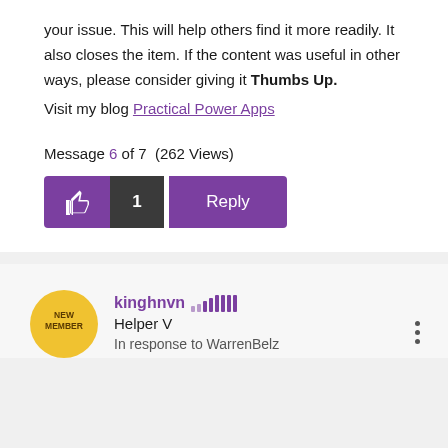your issue. This will help others find it more readily. It also closes the item. If the content was useful in other ways, please consider giving it Thumbs Up.
Visit my blog Practical Power Apps
Message 6 of 7  (262 Views)
[Figure (other): Thumbs up button with count 1 and Reply button]
[Figure (other): User avatar circle with NEW MEMBER badge]
kinghnvn  Helper V  In response to WarrenBelz